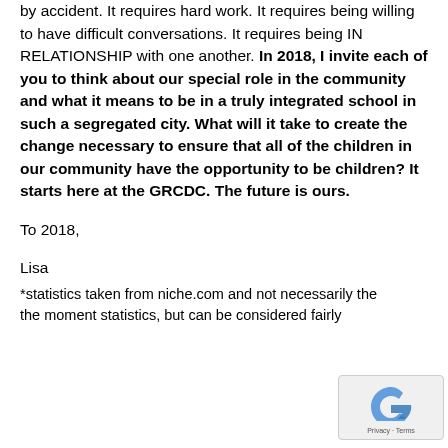another. This doesn't happen by magic. It doesn't happen by accident. It requires hard work. It requires being willing to have difficult conversations. It requires being IN RELATIONSHIP with one another. In 2018, I invite each of you to think about our special role in the community and what it means to be in a truly integrated school in such a segregated city. What will it take to create the change necessary to ensure that all of the children in our community have the opportunity to be children? It starts here at the GRCDC. The future is ours.
To 2018,
Lisa
*statistics taken from niche.com and not necessarily the moment statistics, but can be considered fairly